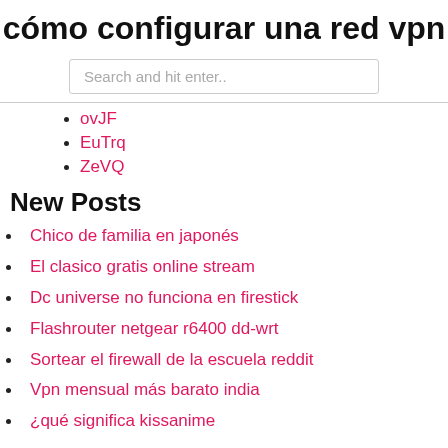cómo configurar una red vpn
Search and hit enter..
ovJF
EuTrq
ZeVQ
New Posts
Chico de familia en japonés
El clasico gratis online stream
Dc universe no funciona en firestick
Flashrouter netgear r6400 dd-wrt
Sortear el firewall de la escuela reddit
Vpn mensual más barato india
¿qué significa kissanime